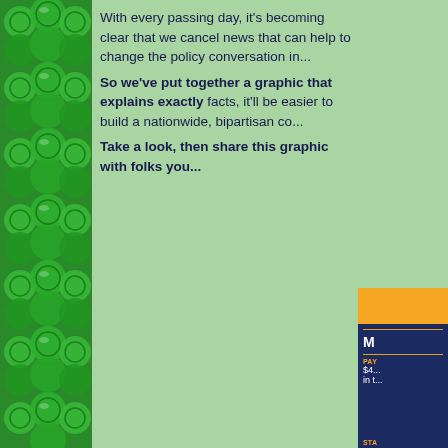[Figure (illustration): Green clover/shamrock pattern decorative left border image]
With every passing day, it's becoming clear that we ca... news that can help to change the policy conversation i...
So we've put together a graphic that explains exa... facts, it'll be easier to build a nationwide, bipartisan co...
Take a look, then share this graphic with folks yo...
[Figure (infographic): Partial infographic panel with orange header bar, navy blue body with text showing PAY $4... in t... and STA... labels]